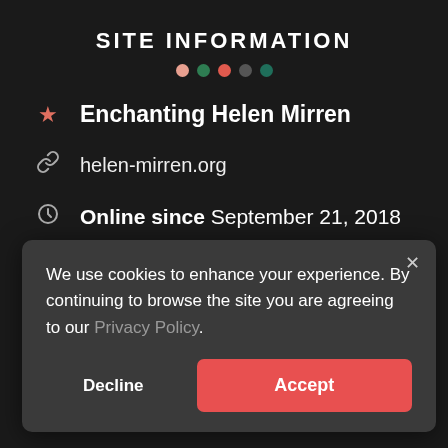SITE INFORMATION
Enchanting Helen Mirren
helen-mirren.org
Online since September 21, 2018
Contact the owner via form
We use cookies to enhance your experience. By continuing to browse the site you are agreeing to our Privacy Policy.
Decline
Accept